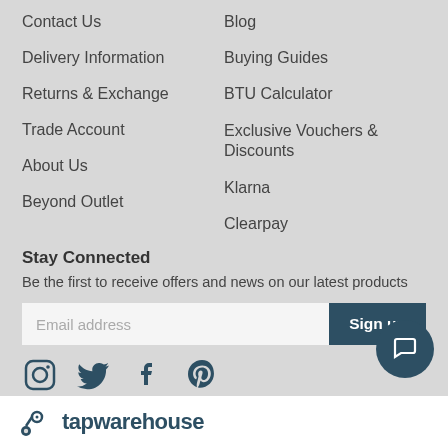Contact Us
Blog
Delivery Information
Buying Guides
Returns & Exchange
BTU Calculator
Trade Account
Exclusive Vouchers & Discounts
About Us
Klarna
Beyond Outlet
Clearpay
Stay Connected
Be the first to receive offers and news on our latest products
[Figure (other): Email address input field with Sign up button]
[Figure (other): Social media icons: Instagram, Twitter, Facebook, Pinterest]
[Figure (other): Chat support button (round, dark teal)]
tapwarehouse logo